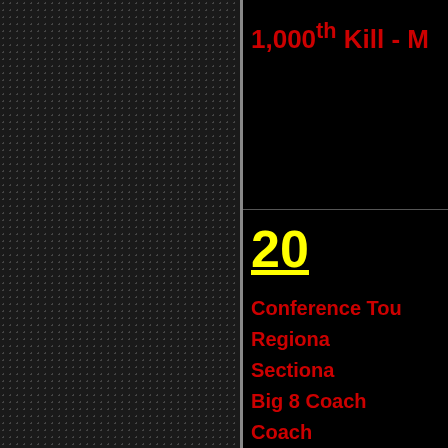[Figure (photo): Dark textured panel with hexagonal/honeycomb mesh pattern on black background, left side of page]
1,000th Kill - M
20
Conference Tou
Regiona
Sectiona
Big 8 Coach
Coach